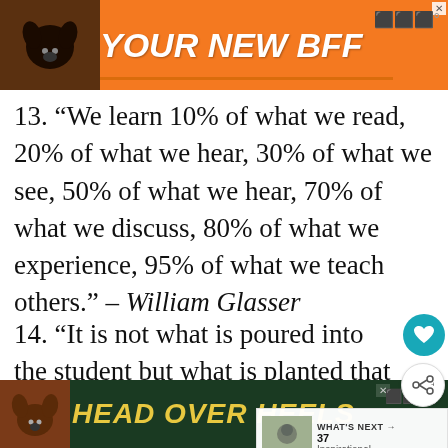[Figure (illustration): Orange advertisement banner at top with dog image and text 'YOUR NEW BFF']
13. “We learn 10% of what we read, 20% of what we hear, 30% of what we see, 50% of what we hear, 70% of what we discuss, 80% of what we experience, 95% of what we teach others.” – William Glasser
14. “It is not what is poured into the student but what is planted that counts.” – E. P. Bertin
15. “Knowledge is power. Information is liberating. Education is the premise of progress, in every society, in every family.” – Kofi Annan
[Figure (illustration): Dark green advertisement banner at bottom with dog image and text 'HEAD OVER HEELS']